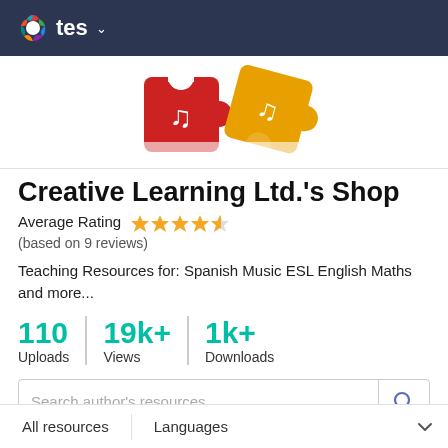tes
[Figure (logo): Tes platform logo in navigation bar — colorful puzzle-piece circular icon with 'tes' text on dark navy background]
[Figure (illustration): Two interlocking puzzle pieces — one red with a musical note symbol, one gold/yellow with a musical note symbol — shop banner image]
Creative Learning Ltd.'s Shop
Average Rating ★★★★½ (based on 9 reviews)
Teaching Resources for: Spanish Music ESL English Maths and more...
110 Uploads   19k+ Views   1k+ Downloads
Search author's resources
All resources   Languages